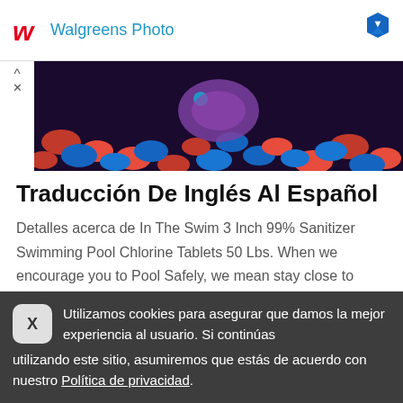[Figure (logo): Walgreens Photo advertisement banner with red W logo and blue text 'Walgreens Photo', with a blue badge icon on the right]
[Figure (photo): Close-up photo of colorful red and blue pebbles/gravel with what appears to be a fish or aquatic object, dark moody lighting]
Traducción De Inglés Al Español
Detalles acerca de In The Swim 3 Inch 99% Sanitizer Swimming Pool Chlorine Tablets 50 Lbs. When we encourage you to Pool Safely, we mean stay close to children in a pool or spa, constantly watch children in and around the water, know life-saving skills, like how to swim
Utilizamos cookies para asegurar que damos la mejor experiencia al usuario. Si continúas utilizando este sitio, asumiremos que estás de acuerdo con nuestro Política de privacidad.